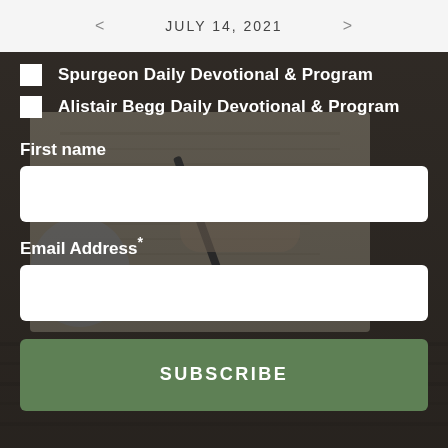< JULY 14, 2021 >
Spurgeon Daily Devotional & Program
Alistair Begg Daily Devotional & Program
First name
Email Address*
SUBSCRIBE